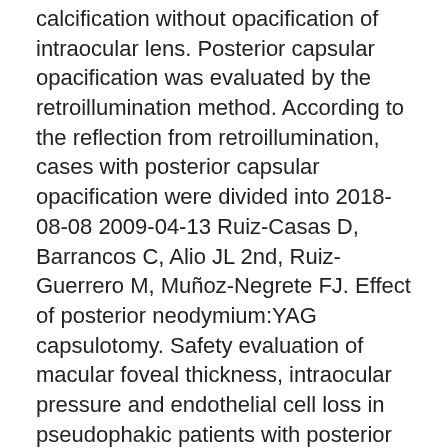calcification without opacification of intraocular lens. Posterior capsular opacification was evaluated by the retroillumination method. According to the reflection from retroillumination, cases with posterior capsular opacification were divided into 2018-08-08 2009-04-13 Ruiz-Casas D, Barrancos C, Alio JL 2nd, Ruiz-Guerrero M, Muñoz-Negrete FJ. Effect of posterior neodymium:YAG capsulotomy. Safety evaluation of macular foveal thickness, intraocular pressure and endothelial cell loss in pseudophakic patients with posterior capsule opacification.
I had cataract surgery in 2015 and after shortly afterwards my eyesight started to deteriorate, in one eye and then the other. Posterior capsular opacification is a common late post-operative complication of cataract surgery.